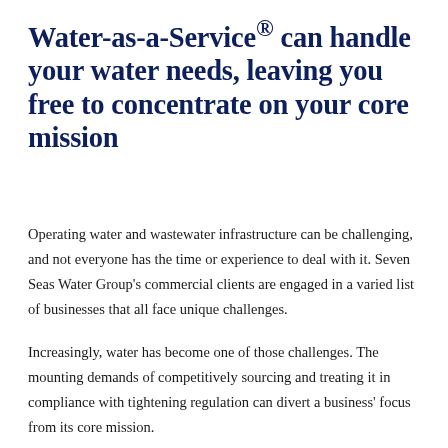Water-as-a-Service® can handle your water needs, leaving you free to concentrate on your core mission
Operating water and wastewater infrastructure can be challenging, and not everyone has the time or experience to deal with it. Seven Seas Water Group's commercial clients are engaged in a varied list of businesses that all face unique challenges.
Increasingly, water has become one of those challenges. The mounting demands of competitively sourcing and treating it in compliance with tightening regulation can divert a business' focus from its core mission.